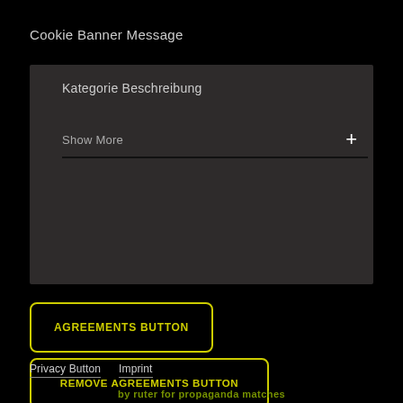Cookie Banner Message
Kategorie Beschreibung
Show More
AGREEMENTS BUTTON
REMOVE AGREEMENTS BUTTON
Privacy Button
Imprint
by ruter for propaganda matches